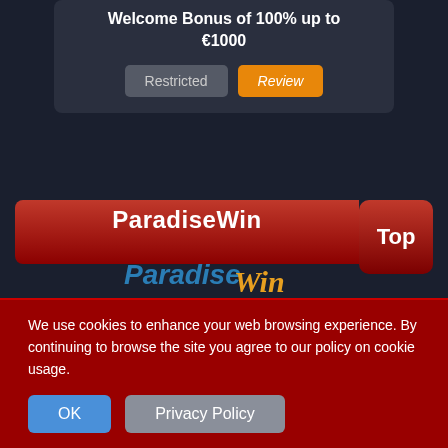Welcome Bonus of 100% up to €1000
Restricted
Review
ParadiseWin
Top
[Figure (logo): ParadiseWin casino logo with 'Paradise' in blue and 'Win' in orange cursive script]
We use cookies to enhance your web browsing experience. By continuing to browse the site you agree to our policy on cookie usage.
OK
Privacy Policy